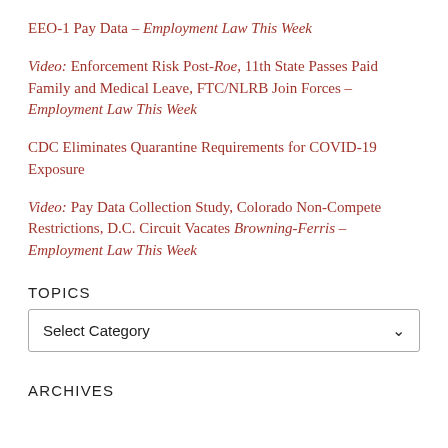EEO-1 Pay Data – Employment Law This Week
Video: Enforcement Risk Post-Roe, 11th State Passes Paid Family and Medical Leave, FTC/NLRB Join Forces – Employment Law This Week
CDC Eliminates Quarantine Requirements for COVID-19 Exposure
Video: Pay Data Collection Study, Colorado Non-Compete Restrictions, D.C. Circuit Vacates Browning-Ferris – Employment Law This Week
TOPICS
Select Category
ARCHIVES